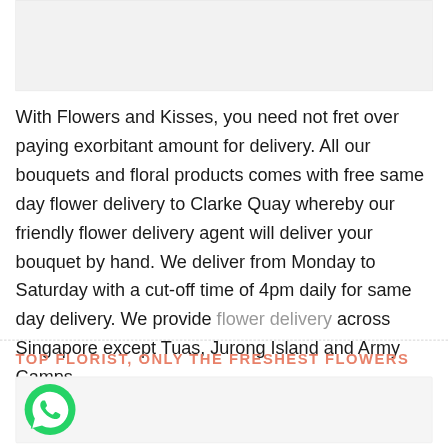[Figure (photo): Light gray placeholder image area at top of page]
With Flowers and Kisses, you need not fret over paying exorbitant amount for delivery. All our bouquets and floral products comes with free same day flower delivery to Clarke Quay whereby our friendly flower delivery agent will deliver your bouquet by hand. We deliver from Monday to Saturday with a cut-off time of 4pm daily for same day delivery. We provide flower delivery across Singapore except Tuas, Jurong Island and Army Camps.
TOP FLORIST, ONLY THE FRESHEST FLOWERS
[Figure (screenshot): White/light gray box with WhatsApp green circle icon in the bottom left corner]